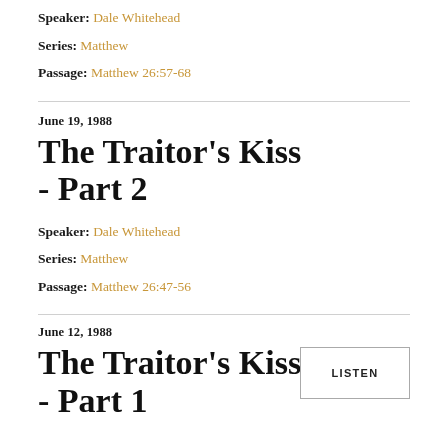Speaker: Dale Whitehead
Series: Matthew
Passage: Matthew 26:57-68
June 19, 1988
The Traitor's Kiss - Part 2
Speaker: Dale Whitehead
Series: Matthew
Passage: Matthew 26:47-56
June 12, 1988
The Traitor's Kiss - Part 1
LISTEN